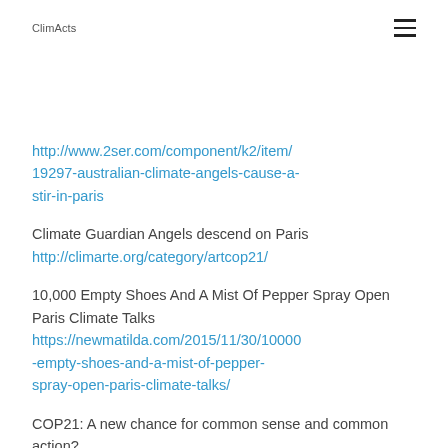ClimActs
http://www.2ser.com/component/k2/item/19297-australian-climate-angels-cause-a-stir-in-paris
Climate Guardian Angels descend on Paris
http://climarte.org/category/artcop21/
10,000 Empty Shoes And A Mist Of Pepper Spray Open Paris Climate Talks
https://newmatilda.com/2015/11/30/10000-empty-shoes-and-a-mist-of-pepper-spray-open-paris-climate-talks/
COP21: A new chance for common sense and common action?